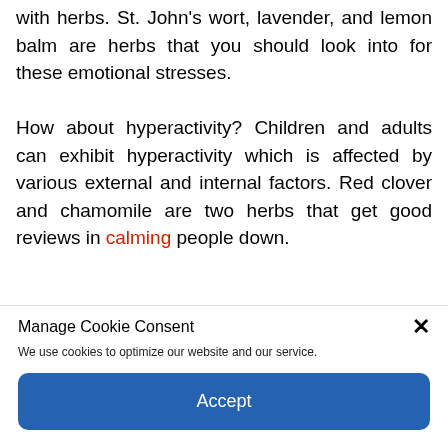with herbs. St. John's wort, lavender, and lemon balm are herbs that you should look into for these emotional stresses.

How about hyperactivity? Children and adults can exhibit hyperactivity which is affected by various external and internal factors. Red clover and chamomile are two herbs that get good reviews in calming people down.
Manage Cookie Consent
We use cookies to optimize our website and our service.
Accept